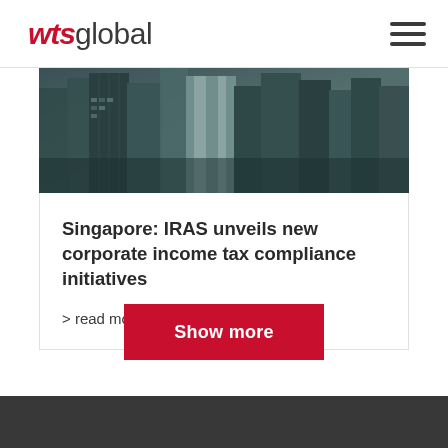wts global
[Figure (photo): Aerial/street view photograph of Singapore city skyline with modern high-rise office buildings in dark teal/grey tones]
Singapore: IRAS unveils new corporate income tax compliance initiatives
> read more
Show more